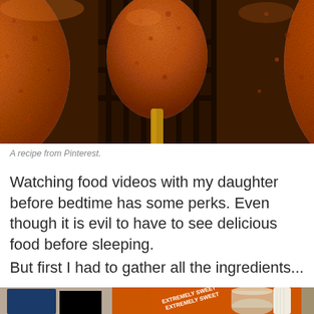[Figure (photo): Close-up photo of golden-brown fried corn dogs on sticks, showing crispy fried batter texture with deep orange-brown color]
A recipe from Pinterest.
Watching food videos with my daughter before bedtime has some perks. Even though it is evil to have to see delicious food before sleeping.
But first I had to gather all the ingredients...
[Figure (photo): Partial view of kitchen counter with ingredients and supplies including an orange package labeled 'Extremely Sweet', a glass jar, paper towels, and other items]